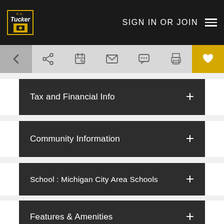F.C. Tucker — SIGN IN OR JOIN
[Figure (screenshot): Toolbar with back arrow, share, edit, email, chat, print, and heart (favorites) buttons]
Tax and Financial Info +
Community Information +
School : Michigan City Area Schools +
Features & Amenities +
[Figure (photo): Partial exterior photo of a building with blue sky background]
Accept and Close ✕
Your browser settings do not allow cross-site tracking for advertising. Click on this page to allow AdRoll to use cross-site tracking to tailor ads to you. Learn more or opt out of this AdRoll tracking by clicking here. This message only appears once.